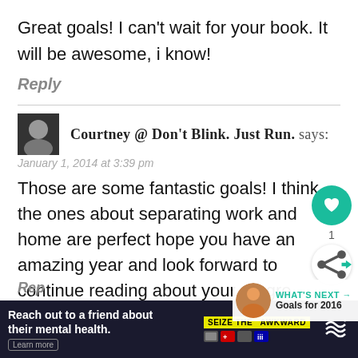Great goals! I can't wait for your book. It will be awesome, i know!
Reply
Courtney @ Don't Blink. Just Run. says:
January 1, 2014 at 3:39 pm
Those are some fantastic goals! I think the ones about separating work and home are perfect hope you have an amazing year and look forward to continue reading about your progre
Reply
[Figure (infographic): Ad banner: 'Reach out to a friend about their mental health.' with SEIZE THE AWKWARD logo and Learn more button on dark background]